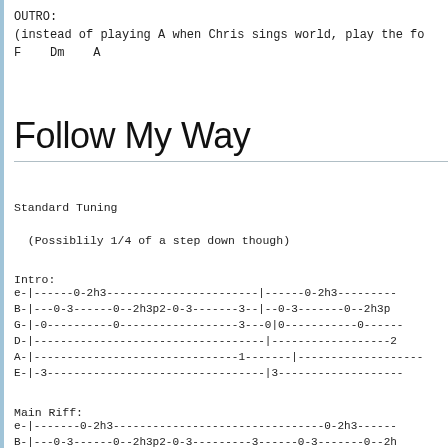OUTRO:
(instead of playing A when Chris sings world, play the fo
F    Dm    A
Follow My Way
Standard Tuning
(Possiblily 1/4 of a step down though)
Intro:
e-|------0-2h3-----------------------|------0-2h3--------
B-|---0-3------0--2h3p2-0-3-------3--|--0-3-------0--2h3p
G-|-0----------0------------------3---0|0-----------0------
D-|-----------------------------------|------------------2
A-|-------------------------------1-------|------------------
E-|-3---------------------------------|3------------------
Main Riff:
e-|-------0-2h3--------------------------------0-2h3------
B-|---0-3------0--2h3p2-0-3---------3------0-3-------0--2h
G-|-0-----------0-------------------3-0-0-----------0----
D-|-----------------------------------------------------------